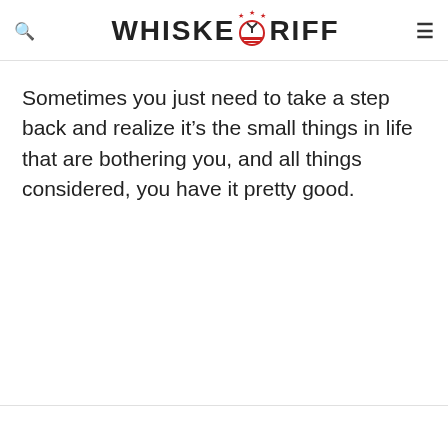WHISKEY RIFF
Sometimes you just need to take a step back and realize it’s the small things in life that are bothering you, and all things considered, you have it pretty good.